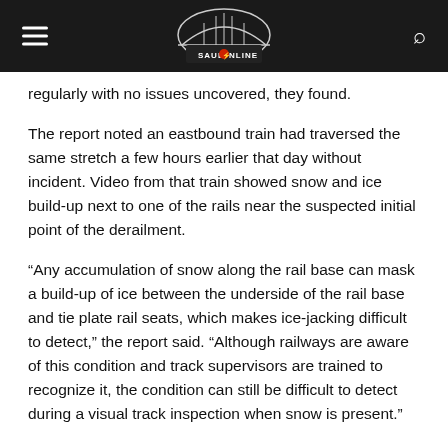Sault Online
regularly with no issues uncovered, they found.
The report noted an eastbound train had traversed the same stretch a few hours earlier that day without incident. Video from that train showed snow and ice build-up next to one of the rails near the suspected initial point of the derailment.
“Any accumulation of snow along the rail base can mask a build-up of ice between the underside of the rail base and tie plate rail seats, which makes ice-jacking difficult to detect,” the report said. “Although railways are aware of this condition and track supervisors are trained to recognize it, the condition can still be difficult to detect during a visual track inspection when snow is present.”